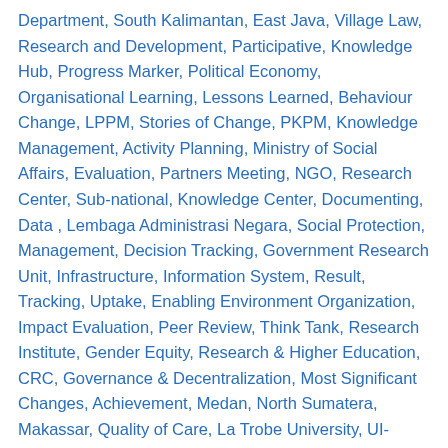Department, South Kalimantan, East Java, Village Law, Research and Development, Participative, Knowledge Hub, Progress Marker, Political Economy, Organisational Learning, Lessons Learned, Behaviour Change, LPPM, Stories of Change, PKPM, Knowledge Management, Activity Planning, Ministry of Social Affairs, Evaluation, Partners Meeting, NGO, Research Center, Sub-national, Knowledge Center, Documenting, Data , Lembaga Administrasi Negara, Social Protection, Management, Decision Tracking, Government Research Unit, Infrastructure, Information System, Result, Tracking, Uptake, Enabling Environment Organization, Impact Evaluation, Peer Review, Think Tank, Research Institute, Gender Equity, Research & Higher Education, CRC, Governance & Decentralization, Most Significant Changes, Achievement, Medan, North Sumatera, Makassar, Quality of Care, La Trobe University, UI-CSGAR, TCID, CIPG, AAKI, Sajogyo Institute, PPH Unika Atmajaya, PUSAD, PPIM,